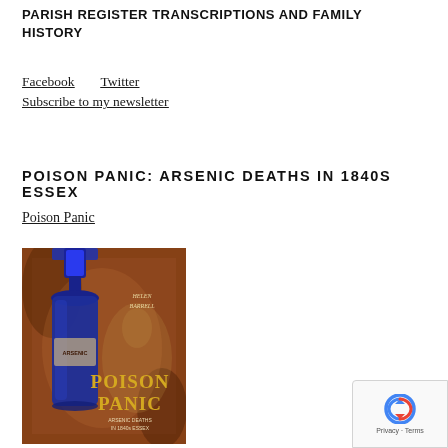PARISH REGISTER TRANSCRIPTIONS AND FAMILY HISTORY
Facebook   Twitter
Subscribe to my newsletter
POISON PANIC: ARSENIC DEATHS IN 1840S ESSEX
Poison Panic
[Figure (photo): Book cover of 'Poison Panic: Arsenic Deaths in 1840s Essex' by Helen Barrell, featuring a dark blue arsenic bottle against an antique illustrated background with the title text in gold/yellow.]